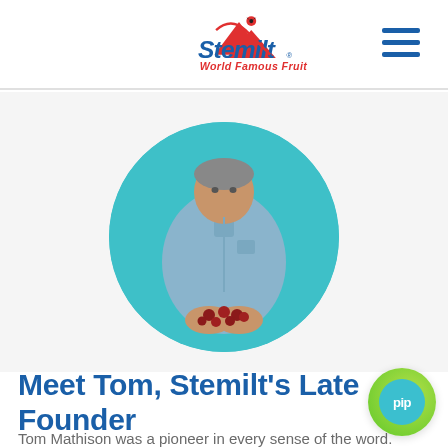Stemilt World Famous Fruit [logo and navigation]
[Figure (photo): Circular portrait photo of Tom Mathison, an older man in a denim shirt, holding cherries in his cupped hands, against a teal/cyan circular background.]
Meet Tom, Stemilt's Late Founder
Tom Mathison was a pioneer in every sense of the word. Born and raised on Stemilt Hill near Wenatchee,